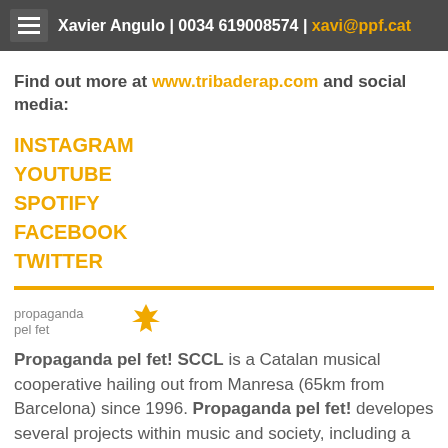Xavier Angulo | 0034 619008574 | xavi@ppf.cat
Find out more at www.tribaderap.com and social media:
INSTAGRAM
YOUTUBE
SPOTIFY
FACEBOOK
TWITTER
[Figure (logo): Propaganda pel fet logo with orange maple leaf icon]
Propaganda pel fet! SCCL is a Catalan musical cooperative hailing out from Manresa (65km from Barcelona) since 1996. Propaganda pel fet! developes several projects within music and society, including a record label with more than 125 releases; a management and booking agency with Catalan and